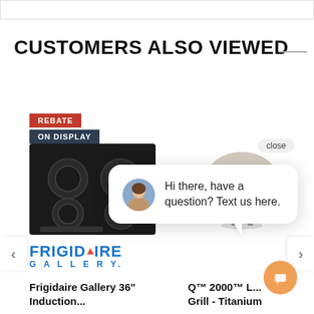CUSTOMERS ALSO VIEWED
[Figure (screenshot): E-commerce product listing page showing 'Customers Also Viewed' section with two products: Frigidaire Gallery 36" Induction cooktop (with REBATE and ON DISPLAY badges) and Q™ 2000™ L... Grill - Titanium (Weber branded), overlaid with a chat popup saying 'Hi there, have a question? Text us here.']
REBATE
ON DISPLAY
Frigidaire Gallery 36" Induction...
Q™ 2000™ L... Grill - Titanium
Hi there, have a question? Text us here.
close